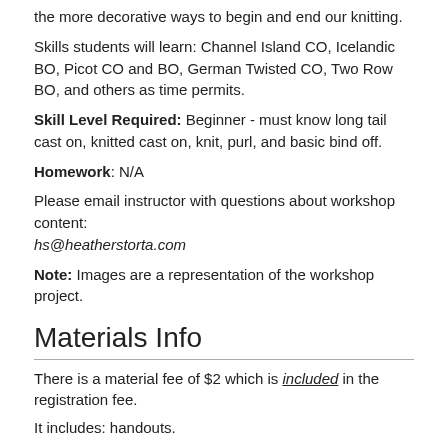the more decorative ways to begin and end our knitting.
Skills students will learn: Channel Island CO, Icelandic BO, Picot CO and BO, German Twisted CO, Two Row BO, and others as time permits.
Skill Level Required: Beginner - must know long tail cast on, knitted cast on, knit, purl, and basic bind off.
Homework: N/A
Please email instructor with questions about workshop content: hs@heatherstorta.com
Note: Images are a representation of the workshop project.
Materials Info
There is a material fee of $2 which is included in the registration fee.
It includes: handouts.
Students must bring:
Smooth, light colored worsted weight yarn.
A small amount of contrasting color worsted weight yarn.
Working needles appropriate to yarn (size 7 or 8 will work for most knitters).